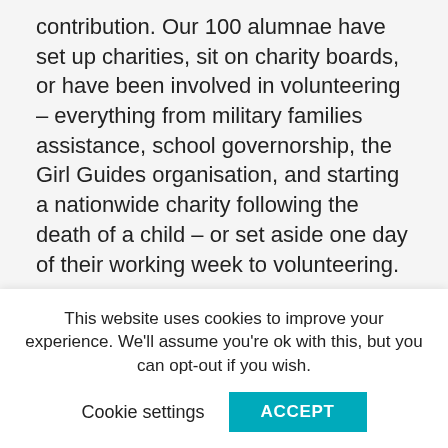contribution. Our 100 alumnae have set up charities, sit on charity boards, or have been involved in volunteering – everything from military families assistance, school governorship, the Girl Guides organisation, and starting a nationwide charity following the death of a child – or set aside one day of their working week to volunteering.
Alumnae talk about issues such as corporate responsibility, business sustainability, balancing career and family responsibilities, and the advice to 'live a life full of meaning'. Asked to provide their definition of success, one, Chairman of a FTSE 100...
This website uses cookies to improve your experience. We'll assume you're ok with this, but you can opt-out if you wish.
Cookie settings   ACCEPT